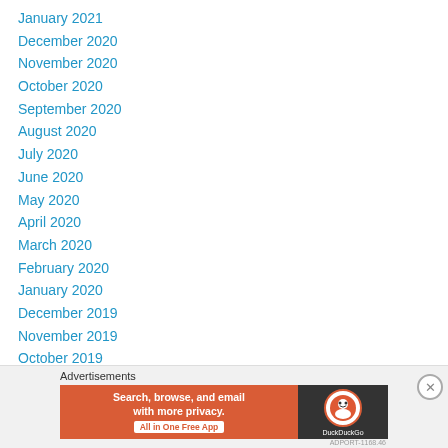January 2021
December 2020
November 2020
October 2020
September 2020
August 2020
July 2020
June 2020
May 2020
April 2020
March 2020
February 2020
January 2020
December 2019
November 2019
October 2019
[Figure (screenshot): DuckDuckGo advertisement banner: orange section with text 'Search, browse, and email with more privacy. All in One Free App', dark section with DuckDuckGo logo]
Advertisements